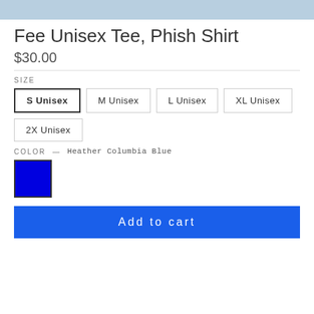[Figure (photo): Partial view of a light blue t-shirt product image at the top of the page]
Fee Unisex Tee, Phish Shirt
$30.00
SIZE
S Unisex (selected), M Unisex, L Unisex, XL Unisex, 2X Unisex
COLOR — Heather Columbia Blue
[Figure (other): Blue color swatch square with border, representing Heather Columbia Blue color option]
Add to cart